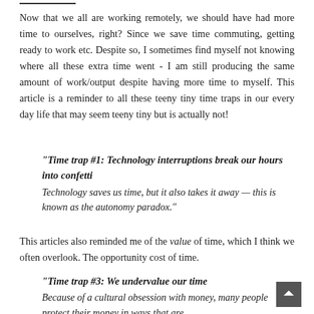Now that we all are working remotely, we should have had more time to ourselves, right? Since we save time commuting, getting ready to work etc. Despite so, I sometimes find myself not knowing where all these extra time went - I am still producing the same amount of work/output despite having more time to myself. This article is a reminder to all these teeny tiny time traps in our every day life that may seem teeny tiny but is actually not!
"Time trap #1: Technology interruptions break our hours into confetti Technology saves us time, but it also takes it away — this is known as the autonomy paradox."
This articles also reminded me of the value of time, which I think we often overlook. The opportunity cost of time.
"Time trap #3: We undervalue our time Because of a cultural obsession with money, many people protect their money in ways that are